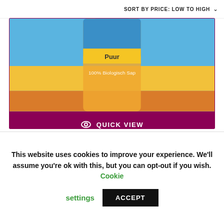SORT BY PRICE: LOW TO HIGH
[Figure (photo): Bottle of organic carrot juice with blue and yellow label reading 'Puur' and '100% Biologisch Sap']
QUICK VIEW
Organic Carrot Juice...
☆☆☆☆☆
€4.29 Price including tax
This website uses cookies to improve your experience. We'll assume you're ok with this, but you can opt-out if you wish. Cookie settings ACCEPT